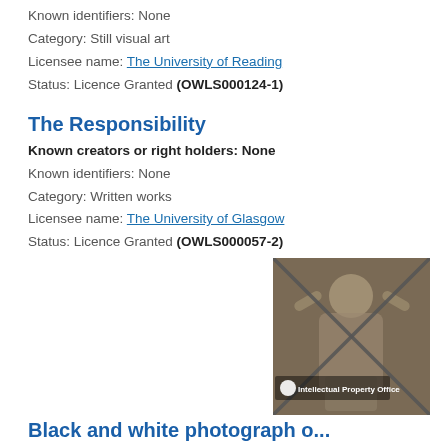Known identifiers: None
Category: Still visual art
Licensee name: The University of Reading
Status: Licence Granted (OWLS000124-1)
The Responsibility
Known creators or right holders: None
Known identifiers: None
Category: Written works
Licensee name: The University of Glasgow
Status: Licence Granted (OWLS000057-2)
[Figure (photo): Black and white photograph of a person from behind with arms raised, overlaid with an X mark and 'Intellectual Property Office' watermark/logo in the lower left area.]
Black and white photograph o...